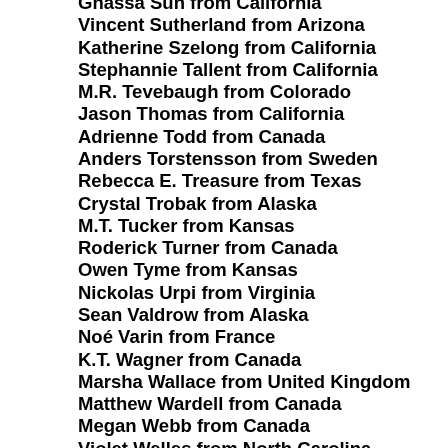Gnassa Sun from California
Vincent Sutherland from Arizona
Katherine Szelong from California
Stephannie Tallent from California
M.R. Tevebaugh from Colorado
Jason Thomas from California
Adrienne Todd from Canada
Anders Torstensson from Sweden
Rebecca E. Treasure from Texas
Crystal Trobak from Alaska
M.T. Tucker from Kansas
Roderick Turner from Canada
Owen Tyme from Kansas
Nickolas Urpi from Virginia
Sean Valdrow from Alaska
Noé Varin from France
K.T. Wagner from Canada
Marsha Wallace from United Kingdom
Matthew Wardell from Canada
Megan Webb from Canada
Violet Welles from North Carolina
Robert Wilkins from California
Jason Willis from Minnesota
Chris Winspear from Australia
Chrissy Wissler from California
Brandy Woldstad from Wisconsin